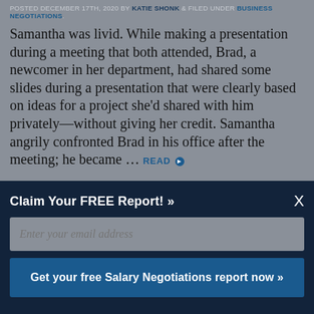POSTED DECEMBER 17TH, 2020 BY KATIE SHONK & FILED UNDER BUSINESS NEGOTIATIONS.
Samantha was livid. While making a presentation during a meeting that both attended, Brad, a newcomer in her department, had shared some slides during a presentation that were clearly based on ideas for a project she'd shared with him privately—without giving her credit. Samantha angrily confronted Brad in his office after the meeting; he became … READ ▶
Causes of Conflict: When Taboos Create Trouble
Claim Your FREE Report! »
Enter your email address
Get your free Salary Negotiations report now »